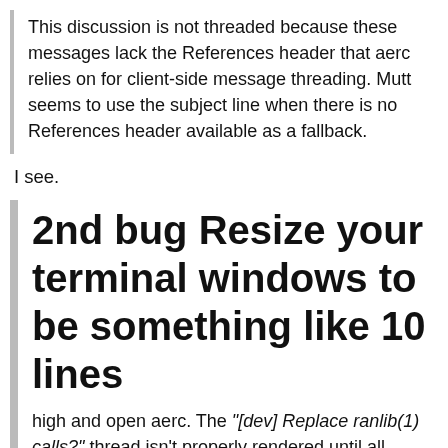This discussion is not threaded because these messages lack the References header that aerc relies on for client-side message threading. Mutt seems to use the subject line when there is no References header available as a fallback.
I see.
2nd bug Resize your terminal windows to be something like 10 lines
high and open aerc. The "[dev] Replace ranlib(1) calls?" thread isn't properly rendered until all messages have been displayed (by scrolling down or using G).
Client-side message threading only applies to the messages that have been fetched (i.e. were loaded in